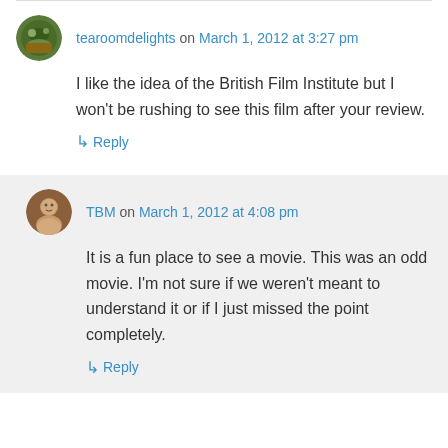tearoomdelights on March 1, 2012 at 3:27 pm
I like the idea of the British Film Institute but I won't be rushing to see this film after your review.
↳ Reply
TBM on March 1, 2012 at 4:08 pm
It is a fun place to see a movie. This was an odd movie. I'm not sure if we weren't meant to understand it or if I just missed the point completely.
↳ Reply